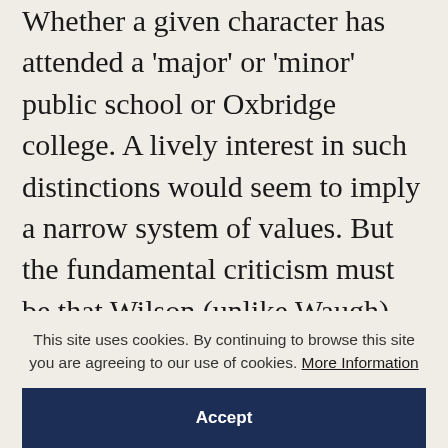Whether a given character has attended a 'major' or 'minor' public school or Oxbridge college. A lively interest in such distinctions would seem to imply a narrow system of values. But the fundamental criticism must be that Wilson (unlike Waugh) doesn't seem to feel deeply about his subject: he offers the motions, the intonations, of satire, but not the substance. If an entire intake of ordinands is shrilly homosexual, if a famous Dean is a self-publicising opportunist, the revelation is made to seem good for a giggle. The occasional [text cut off]
This site uses cookies. By continuing to browse this site you are agreeing to our use of cookies. More Information
Accept